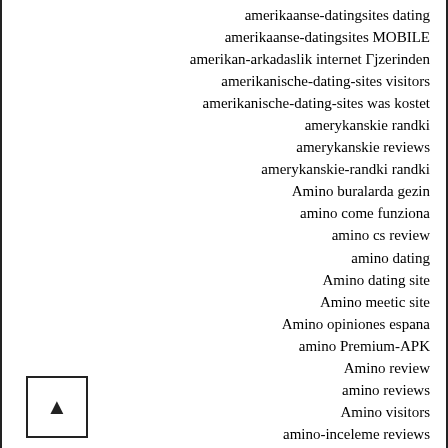amerikaanse-datingsites dating
amerikaanse-datingsites MOBILE
amerikan-arkadaslik internet Γjzerinden
amerikanische-dating-sites visitors
amerikanische-dating-sites was kostet
amerykanskie randki
amerykanskie reviews
amerykanskie-randki randki
Amino buralarda gezin
amino come funziona
amino cs review
amino dating
Amino dating site
Amino meetic site
Amino opiniones espana
amino Premium-APK
Amino review
amino reviews
Amino visitors
amino-inceleme reviews
amino-recenze MobilnΓ strΓŸnka
amino-recenze recenzΓ
amolatina Aplikacja
amolatina crediti gratuiti
Amolatina dating site
amolatina de kosten
Amolatina frauen app